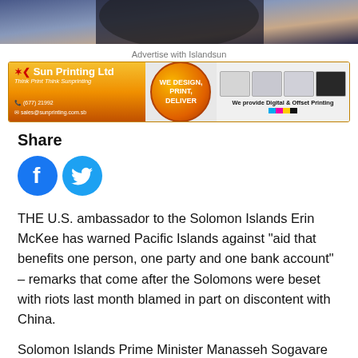[Figure (photo): Cropped photo of a person, showing bottom portion of hair and background]
Advertise with Islandsun
[Figure (infographic): Sun Printing Ltd advertisement banner with logo, 'We Design, Print, Deliver' badge, printing machines images, and 'We provide Digital & Offset Printing' text]
Share
[Figure (infographic): Facebook and Twitter social media share icons]
THE U.S. ambassador to the Solomon Islands Erin McKee has warned Pacific Islands against "aid that benefits one person, one party and one bank account" – remarks that come after the Solomons were beset with riots last month blamed in part on discontent with China.
Solomon Islands Prime Minister Manasseh Sogavare was accused last week by the leader of the opposition in